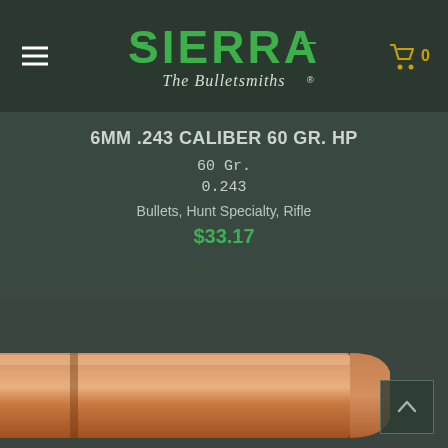[Figure (logo): Sierra Bullets logo with text 'SIERRA The Bulletsmiths' in green and white on dark background]
6MM .243 CALIBER 60 GR. HP
60 Gr.
0.243
Bullets, Hunt Specialty, Rifle
$33.17
[Figure (photo): Copper hollow point rifle bullet shown at bottom of the page, partially cropped]